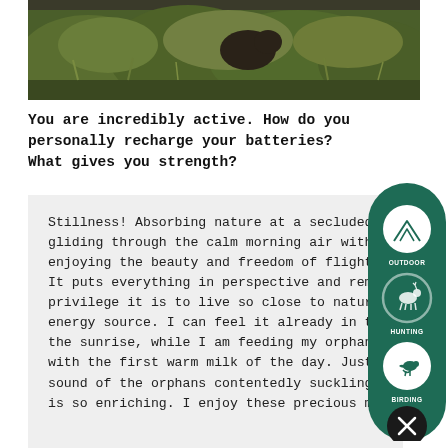[Figure (photo): Partial wildlife photo showing animals in green brush/shrubs, cropped at the top of the page]
You are incredibly active. How do you personally recharge your batteries? What gives you strength?
Stillness! Absorbing nature at a secluded place or just gliding through the calm morning air with my plane, enjoying the beauty and freedom of flight clears my mind. It puts everything in perspective and reminds me of the privilege it is to live so close to nature. Nature is my energy source. I can feel it already in the first rays of the sunrise, while I am feeding my orphaned rhino calves with the first warm milk of the day. Just listening to the sound of the orphans contentedly suckling away at the milk is so enriching. I enjoy these precious moments and
[Figure (infographic): Dark green pill-shaped sidebar with three activity icons and labels: OUTDOOR (mountain icon), HUNTING (deer icon), BIRDING (bird icon), and a close/X button at the bottom]